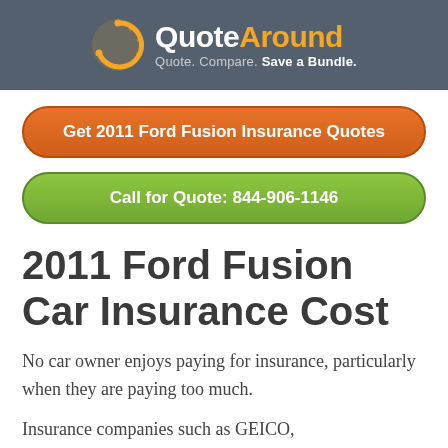QuoteAround — Quote. Compare. Save a Bundle.
Get 2011 Ford Fusion Insurance Quotes
Call for Quote: 844-906-1146
2011 Ford Fusion Car Insurance Cost
No car owner enjoys paying for insurance, particularly when they are paying too much.
Insurance companies such as GEICO,